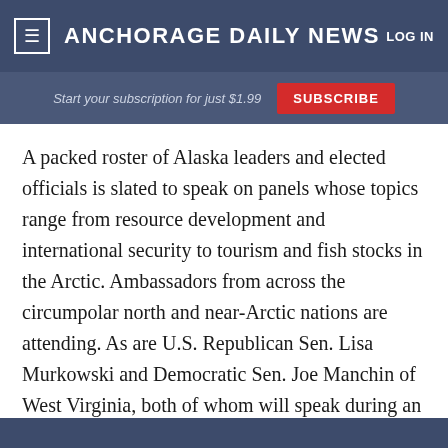≡  ANCHORAGE DAILY NEWS  LOG IN
Start your subscription for just $1.99  SUBSCRIBE
A packed roster of Alaska leaders and elected officials is slated to speak on panels whose topics range from resource development and international security to tourism and fish stocks in the Arctic. Ambassadors from across the circumpolar north and near-Arctic nations are attending. As are U.S. Republican Sen. Lisa Murkowski and Democratic Sen. Joe Manchin of West Virginia, both of whom will speak during an